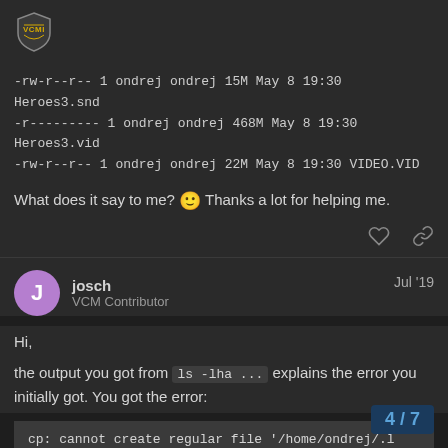[Figure (logo): VCMI shield logo on dark top bar]
-rw-r--r-- 1 ondrej ondrej 15M May 8 19:30 Heroes3.snd
-r--------- 1 ondrej ondrej 468M May 8 19:30 Heroes3.vid
-rw-r--r-- 1 ondrej ondrej 22M May 8 19:30 VIDEO.VID
What does it say to me? 🙂 Thanks a lot for helping me.
josch
VCM Contributor
Jul '19
Hi,
the output you got from ls -lha ... explains the error you initially got. You got the error:
cp: cannot create regular file '/home/ondrej/.l
Which makes sense because if you look a
4 / 7